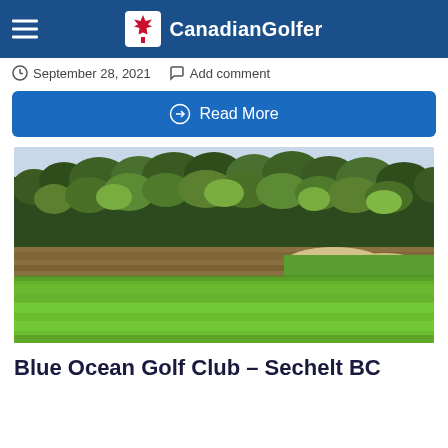Big Sky GC – Revisited
Canadian Golfer
September 28, 2021   Add comment
Read More
[Figure (photo): Golf course fairway and green with sand bunkers and dense tree line in the background, lush green grass in foreground]
Blue Ocean Golf Club – Sechelt BC